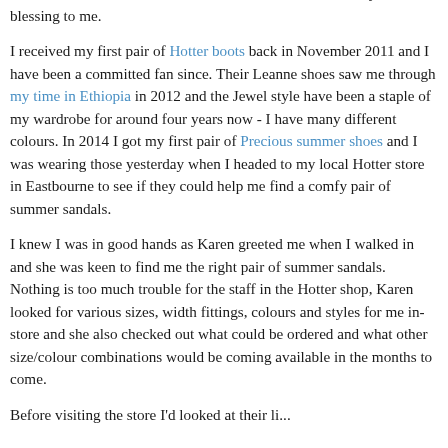footwear. This is where brands like Hotter Shoes have really been a blessing to me.
I received my first pair of Hotter boots back in November 2011 and I have been a committed fan since. Their Leanne shoes saw me through my time in Ethiopia in 2012 and the Jewel style have been a staple of my wardrobe for around four years now - I have many different colours. In 2014 I got my first pair of Precious summer shoes and I was wearing those yesterday when I headed to my local Hotter store in Eastbourne to see if they could help me find a comfy pair of summer sandals.
I knew I was in good hands as Karen greeted me when I walked in and she was keen to find me the right pair of summer sandals. Nothing is too much trouble for the staff in the Hotter shop, Karen looked for various sizes, width fittings, colours and styles for me in-store and she also checked out what could be ordered and what other size/colour combinations would be coming available in the months to come.
Before visiting the store I'd looked at their li...